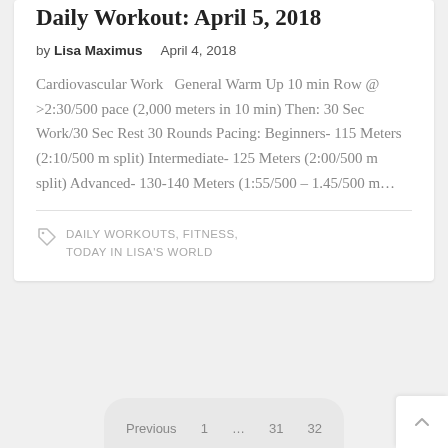Daily Workout: April 5, 2018
by Lisa Maximus   April 4, 2018
Cardiovascular Work   General Warm Up 10 min Row @ >2:30/500 pace (2,000 meters in 10 min) Then: 30 Sec Work/30 Sec Rest 30 Rounds Pacing: Beginners- 115 Meters (2:10/500 m split) Intermediate- 125 Meters (2:00/500 m split) Advanced- 130-140 Meters (1:55/500 – 1.45/500 m…
DAILY WORKOUTS, FITNESS, TODAY IN LISA'S WORLD
Previous  1  ...  31  32